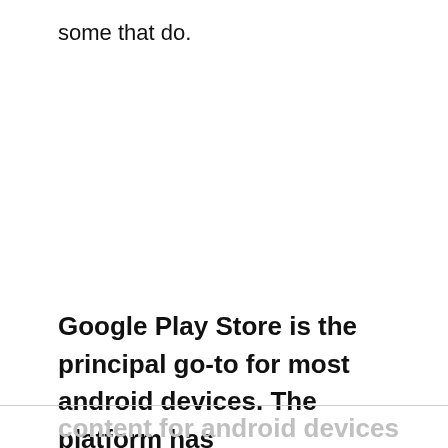some that do.
Google Play Store is the principal go-to for most android devices. The platform has
content for android devices alone.